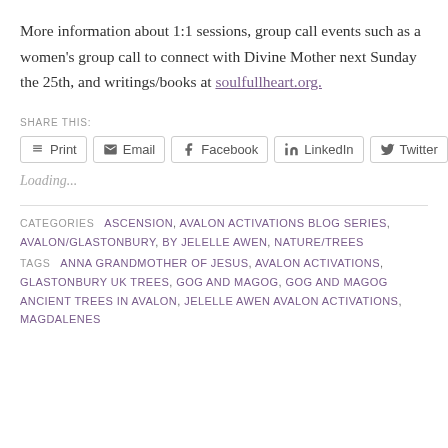More information about 1:1 sessions, group call events such as a women's group call to connect with Divine Mother next Sunday the 25th, and writings/books at soulfullheart.org.
SHARE THIS:
Print  Email  Facebook  LinkedIn  Twitter
Loading...
CATEGORIES  ASCENSION, AVALON ACTIVATIONS BLOG SERIES, AVALON/GLASTONBURY, BY JELELLE AWEN, NATURE/TREES  TAGS  ANNA GRANDMOTHER OF JESUS, AVALON ACTIVATIONS, GLASTONBURY UK TREES, GOG AND MAGOG, GOG AND MAGOG ANCIENT TREES IN AVALON, JELELLE AWEN AVALON ACTIVATIONS, MAGDALENES